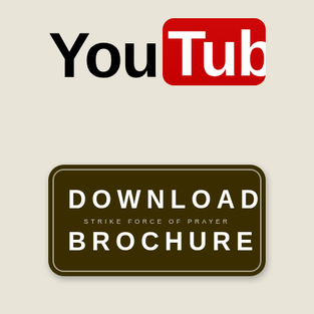[Figure (logo): YouTube logo with 'You' in black bold text and 'Tube' in white bold text on a red rounded rectangle background]
[Figure (infographic): Dark brown rounded rectangle button with white inner border, containing the text 'DOWNLOAD' in large white spaced letters, 'STRIKE FORCE OF PRAYER' in small white spaced letters, and 'BROCHURE' in large white spaced letters]